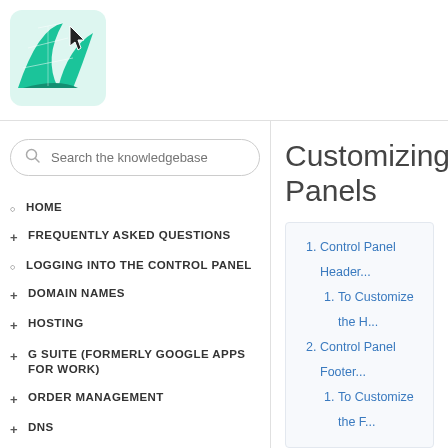[Figure (logo): Green leaf/web pattern logo with a cursor arrow icon]
Search the knowledgebase
HOME
FREQUENTLY ASKED QUESTIONS
LOGGING INTO THE CONTROL PANEL
DOMAIN NAMES
HOSTING
G SUITE (FORMERLY GOOGLE APPS FOR WORK)
ORDER MANAGEMENT
DNS
PREMIUM DNS
DOMAIN / URL FORWARDING
FREE EMAIL SERVICE
Customizing Panels
1. Control Panel Header
   1. To Customize the H...
2. Control Panel Footer
   1. To Customize the F...
Control Panel Head...
All the Control Panels p... your Customers and Su...